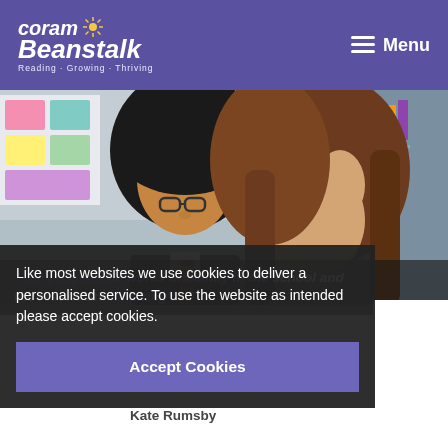[Figure (logo): Coram Beanstalk logo — white text on purple header with sunflower icon. Tagline: Reading · Growing · Thriving]
Menu
[Figure (photo): Two school-age girls in a library/classroom setting. One wearing a black hijab and glasses, the other with long brown hair resting her head on her hand. Both in school uniforms with striped ties.]
"The programme works brilliantly in the school and the results are inspiring"
Like most websites we use cookies to deliver a personalised service. To use the website as intended please accept cookies.
Accept Cookies
Kate Rumsby